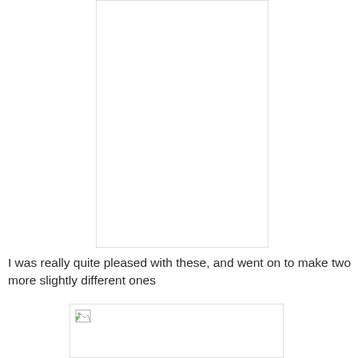[Figure (photo): A tall rectangular image placeholder with a thin border, mostly white/blank interior. No visible image content loaded.]
I was really quite pleased with these, and went on to make two more slightly different ones
[Figure (photo): A rectangular image placeholder with a thin border and a small broken-image icon in the top-left corner, indicating an image that failed to load.]